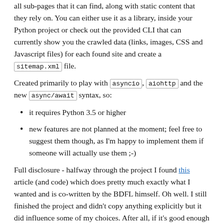all sub-pages that it can find, along with static content that they rely on. You can either use it as a library, inside your Python project or check out the provided CLI that can currently show you the crawled data (links, images, CSS and Javascript files) for each found site and create a sitemap.xml file.
Created primarily to play with asyncio, aiohttp and the new async/await syntax, so:
it requires Python 3.5 or higher
new features are not planned at the moment; feel free to suggest them though, as I'm happy to implement them if someone will actually use them ;-)
Full disclosure - halfway through the project I found this article (and code) which does pretty much exactly what I wanted and is co-written by the BDFL himself. Oh well. I still finished the project and didn't copy anything explicitly but it did influence some of my choices. After all, if it's good enough for the creator of the language I'm using, it's probably good enough for me.